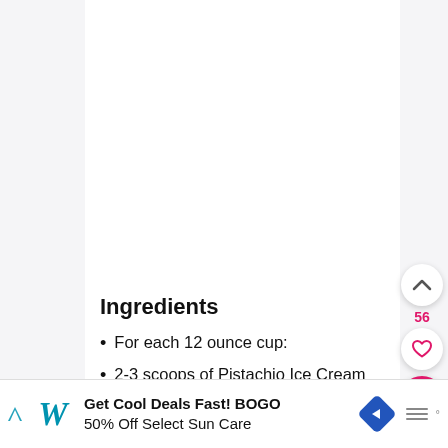Ingredients
For each 12 ounce cup:
2-3 scoops of Pistachio Ice Cream
Splash Sweet Cream Creamer
2 ounces 1 1/3 shot Irish Cream Liqueur (like Bailey's)
8 ounces Cold Coffee
Get Cool Deals Fast! BOGO 50% Off Select Sun Care